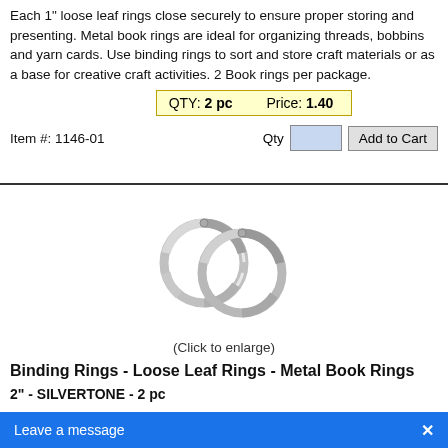Each 1" loose leaf rings close securely to ensure proper storing and presenting. Metal book rings are ideal for organizing threads, bobbins and yarn cards. Use binding rings to sort and store craft materials or as a base for creative craft activities. 2 Book rings per package.
QTY: 2 pc   Price: 1.40
Item #: 1146-01
[Figure (photo): Two silver/chrome metal loose leaf binding rings overlapping each other, photographed on white background.]
(Click to enlarge)
Binding Rings - Loose Leaf Rings - Metal Book Rings
2" -  SILVERTONE - 2 pc
These metal binding rings are a great tool to organize, collect and store greeting cards, work pape... Each 2" loose leaf rings close secur...
Leave a message  X